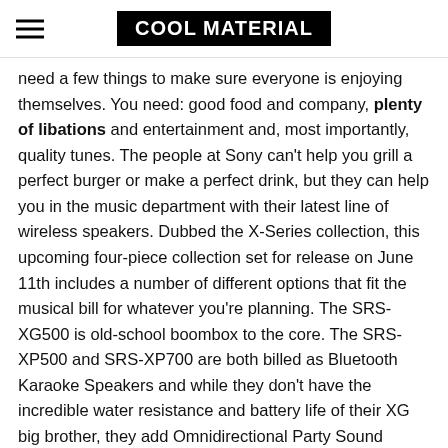COOL MATERIAL
need a few things to make sure everyone is enjoying themselves. You need: good food and company, plenty of libations and entertainment and, most importantly, quality tunes. The people at Sony can't help you grill a perfect burger or make a perfect drink, but they can help you in the music department with their latest line of wireless speakers. Dubbed the X-Series collection, this upcoming four-piece collection set for release on June 11th includes a number of different options that fit the musical bill for whatever you're planning. The SRS-XG500 is old-school boombox to the core. The SRS-XP500 and SRS-XP700 are both billed as Bluetooth Karaoke Speakers and while they don't have the incredible water resistance and battery life of their XG big brother, they add Omnidirectional Party Sound